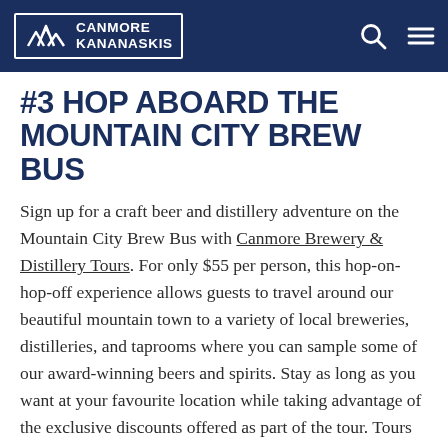CANMORE KANANASKIS
#3 HOP ABOARD THE MOUNTAIN CITY BREW BUS
Sign up for a craft beer and distillery adventure on the Mountain City Brew Bus with Canmore Brewery & Distillery Tours. For only $55 per person, this hop-on-hop-off experience allows guests to travel around our beautiful mountain town to a variety of local breweries, distilleries, and taprooms where you can sample some of our award-winning beers and spirits. Stay as long as you want at your favourite location while taking advantage of the exclusive discounts offered as part of the tour. Tours run Friday through Sunday.